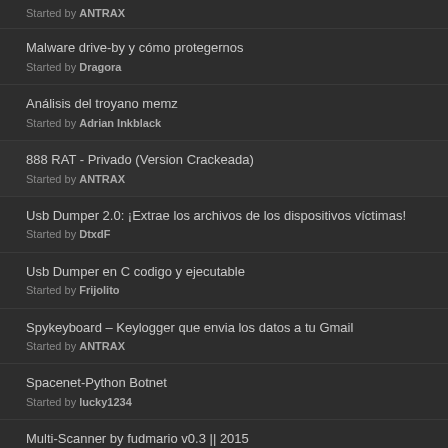Started by ANTRAX
Malware drive-by y cómo protegernos
Started by Dragora
Análisis del troyano memz
Started by Adrian Inkblack
888 RAT - Privado (Version Crackeada)
Started by ANTRAX
Usb Dumper 2.0: ¡Extrae los archivos de los dispositivos víctimas!
Started by DtxdF
Usb Dumper en C codigo y ejecutable
Started by Frijolito
Spykeyboard – Keylogger que envia los datos a tu Gmail
Started by ANTRAX
Spacenet-Python Botnet
Started by lucky1234
Multi-Scanner by fudmario v0.3 || 2015